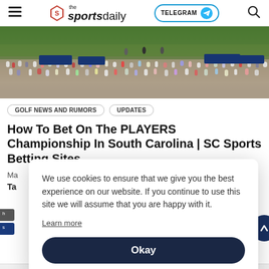the sportsdaily — TELEGRAM — Search
[Figure (photo): Golf event crowd scene at a PGA PLAYERS Championship tournament, with spectators lining a fairway and golfers visible in the distance on a green course.]
GOLF NEWS AND RUMORS   UPDATES
How To Bet On The PLAYERS Championship In South Carolina | SC Sports Betting Sites
Ma
Ta
We use cookies to ensure that we give you the best experience on our website. If you continue to use this site we will assume that you are happy with it.
Learn more
Okay